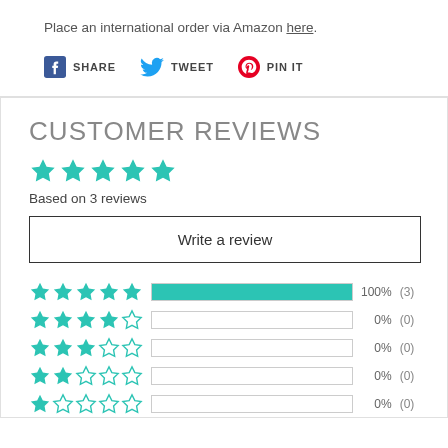Place an international order via Amazon here.
SHARE   TWEET   PIN IT
CUSTOMER REVIEWS
Based on 3 reviews
Write a review
| Stars | Bar | Percent | Count |
| --- | --- | --- | --- |
| 5 stars | 100% | 100% | (3) |
| 4 stars | 0% | 0% | (0) |
| 3 stars | 0% | 0% | (0) |
| 2 stars | 0% | 0% | (0) |
| 1 star | 0% | 0% | (0) |